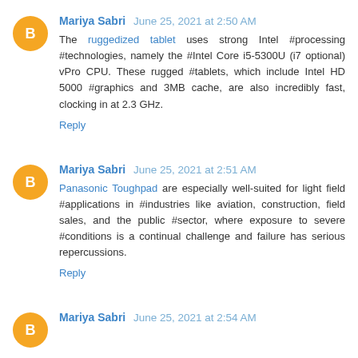Mariya Sabri June 25, 2021 at 2:50 AM
The ruggedized tablet uses strong Intel #processing #technologies, namely the #Intel Core i5-5300U (i7 optional) vPro CPU. These rugged #tablets, which include Intel HD 5000 #graphics and 3MB cache, are also incredibly fast, clocking in at 2.3 GHz.
Reply
Mariya Sabri June 25, 2021 at 2:51 AM
Panasonic Toughpad are especially well-suited for light field #applications in #industries like aviation, construction, field sales, and the public #sector, where exposure to severe #conditions is a continual challenge and failure has serious repercussions.
Reply
Mariya Sabri June 25, 2021 at 2:54 AM